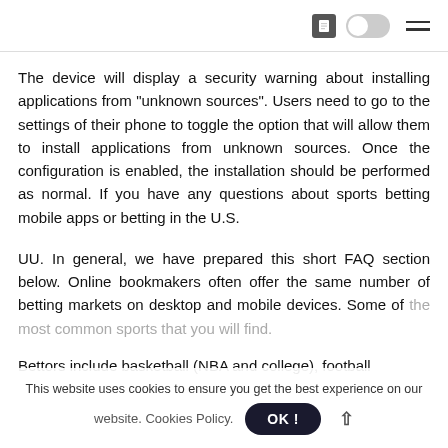[Toggle icon and hamburger menu]
The device will display a security warning about installing applications from “unknown sources”. Users need to go to the settings of their phone to toggle the option that will allow them to install applications from unknown sources. Once the configuration is enabled, the installation should be performed as normal. If you have any questions about sports betting mobile apps or betting in the U.S.
UU. In general, we have prepared this short FAQ section below. Online bookmakers often offer the same number of betting markets on desktop and mobile devices. Some of the most common sports that you will find...
Bettors include basketball (NBA and college), football
This website uses cookies to ensure you get the best experience on our website. Cookies Policy.